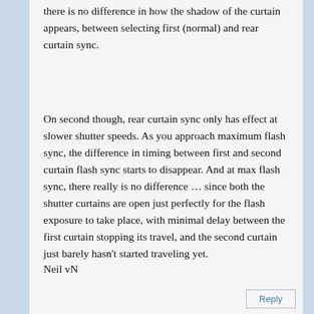there is no difference in how the shadow of the curtain appears, between selecting first (normal) and rear curtain sync.
On second though, rear curtain sync only has effect at slower shutter speeds. As you approach maximum flash sync, the difference in timing between first and second curtain flash sync starts to disappear. And at max flash sync, there really is no difference … since both the shutter curtains are open just perfectly for the flash exposure to take place, with minimal delay between the first curtain stopping its travel, and the second curtain just barely hasn't started traveling yet.
Neil vN